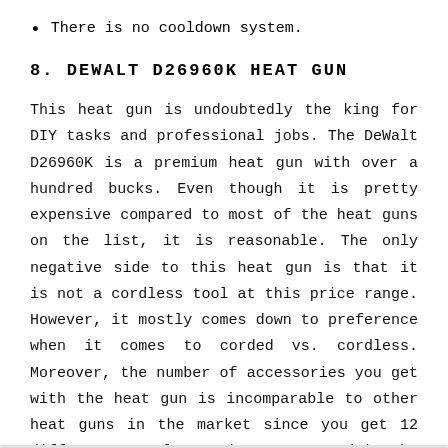There is no cooldown system.
8. DEWALT D26960K HEAT GUN
This heat gun is undoubtedly the king for DIY tasks and professional jobs. The DeWalt D26960K is a premium heat gun with over a hundred bucks. Even though it is pretty expensive compared to most of the heat guns on the list, it is reasonable. The only negative side to this heat gun is that it is not a cordless tool at this price range. However, it mostly comes down to preference when it comes to corded vs. cordless. Moreover, the number of accessories you get with the heat gun is incomparable to other heat guns in the market since you get 12 different nozzles and removers with the kit.